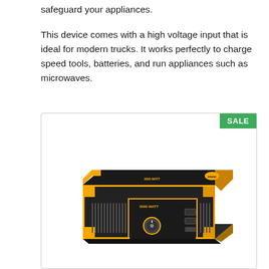safeguard your appliances.
This device comes with a high voltage input that is ideal for modern trucks. It works perfectly to charge speed tools, batteries, and run appliances such as microwaves.
[Figure (photo): A black and yellow power inverter (3000-watt) shown in a product listing image with a SALE badge in the top-right corner.]